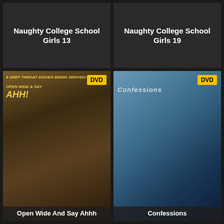Naughty College School Girls 13
Naughty College School Girls 19
[Figure (photo): DVD cover: Open Wide And Say Ahhh]
[Figure (photo): DVD cover: Confessions]
[Figure (photo): DVD cover: Best JAV Girls (Pink Eiga)]
[Figure (photo): DVD cover: New Sensations title]